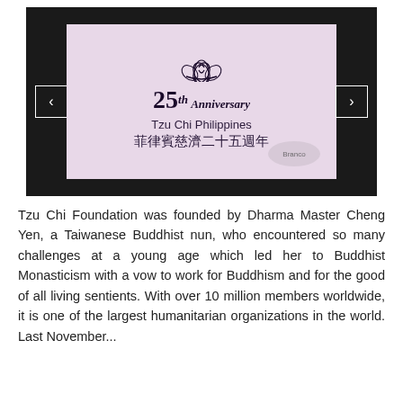[Figure (photo): A slideshow/presentation screen showing '25th Anniversary Tzu Chi Philippines 菲律賓慈濟二十五週年' with a lotus logo, displayed on a screen with dark background and navigation arrows on both sides.]
Tzu Chi Foundation was founded by Dharma Master Cheng Yen, a Taiwanese Buddhist nun, who encountered so many challenges at a young age which led her to Buddhist Monasticism with a vow to work for Buddhism and for the good of all living sentients. With over 10 million members worldwide, it is one of the largest humanitarian organizations in the world. Last November...